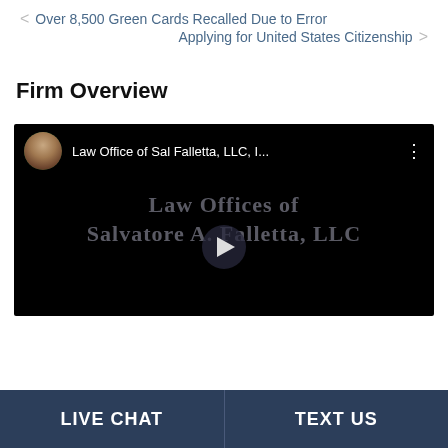< Over 8,500 Green Cards Recalled Due to Error
Applying for United States Citizenship >
Firm Overview
[Figure (screenshot): YouTube-style embedded video player with black background. Header shows circular avatar of a man in suit and text 'Law Office of Sal Falletta, LLC, I...' with menu dots. Background text reads 'Law Offices of Salvatore A. Falletta, LLC' in grey. Play button triangle in center.]
LIVE CHAT    TEXT US